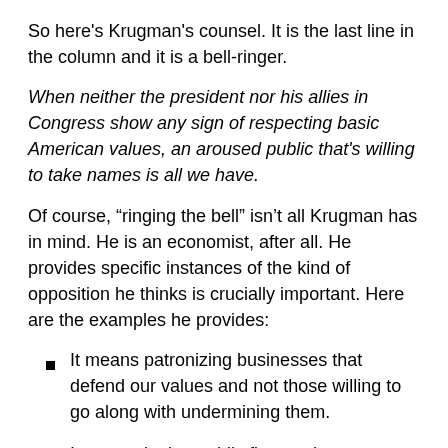So here's Krugman's counsel. It is the last line in the column and it is a bell-ringer.
When neither the president nor his allies in Congress show any sign of respecting basic American values, an aroused public that's willing to take names is all we have.
Of course, “ringing the bell” isn’t all Krugman has in mind. He is an economist, after all. He provides specific instances of the kind of opposition he thinks is crucially important. Here are the examples he provides:
It means patronizing businesses that defend our values and not those willing to go along with undermining them.
It means letting public figures, however nonpolitical their professions, know that people care about the stands they take, or don’t.